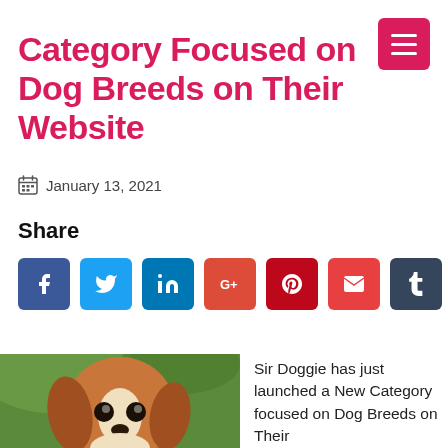Category Focused on Dog Breeds on Their Website
January 13, 2021
Share
[Figure (infographic): Row of 8 social media share buttons: Facebook, Twitter, LinkedIn, Google+, Pinterest, Email, Tumblr, Reddit]
[Figure (photo): Close-up photo of a Cavalier King Charles Spaniel dog with brown and white fur]
Sir Doggie has just launched a New Category focused on Dog Breeds on Their